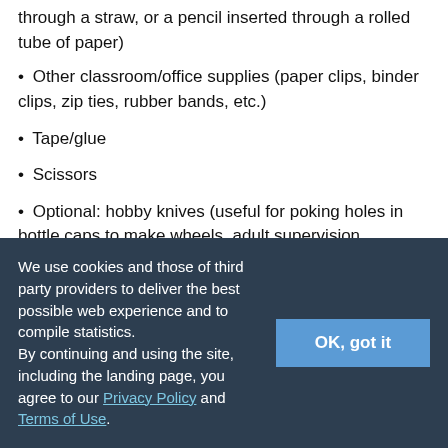through a straw, or a pencil inserted through a rolled tube of paper)
Other classroom/office supplies (paper clips, binder clips, zip ties, rubber bands, etc.)
Tape/glue
Scissors
Optional: hobby knives (useful for poking holes in bottle caps to make wheels, adult supervision recommended)
Materials to measure the cars' motion. Which materials you need depends on how you want to do the lesson. See the Explore section for an explanation of the different options
We use cookies and those of third party providers to deliver the best possible web experience and to compile statistics. By continuing and using the site, including the landing page, you agree to our Privacy Policy and Terms of Use.